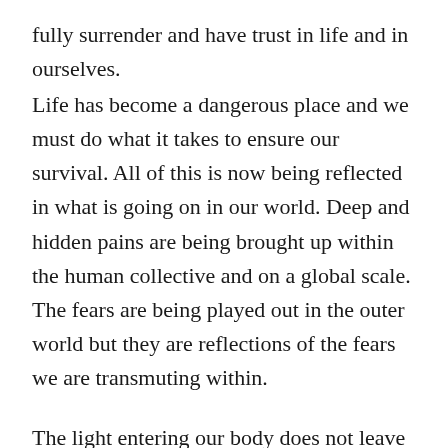fully surrender and have trust in life and in ourselves.
Life has become a dangerous place and we must do what it takes to ensure our survival. All of this is now being reflected in what is going on in our world. Deep and hidden pains are being brought up within the human collective and on a global scale. The fears are being played out in the outer world but they are reflections of the fears we are transmuting within.
The light entering our body does not leave any room anymore for dense energy. Everyone is being awakened from within and either way we are all feeling what is going on whether we understand it